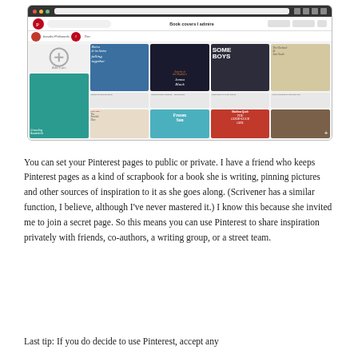[Figure (screenshot): Screenshot of a Pinterest board titled 'Book covers I admire' showing a grid of book cover images including 'Falling Together' by Marisa de los Santos, Jenna Black title, 'Some Boys', 'The Orchard of Lost Souls', 'Frozen Sun', and other book covers.]
You can set your Pinterest pages to public or private. I have a friend who keeps Pinterest pages as a kind of scrapbook for a book she is writing, pinning pictures and other sources of inspiration to it as she goes along. (Scrivener has a similar function, I believe, although I've never mastered it.) I know this because she invited me to join a secret page. So this means you can use Pinterest to share inspiration privately with friends, co-authors, a writing group, or a street team.
Last tip: If you do decide to use Pinterest, accept any